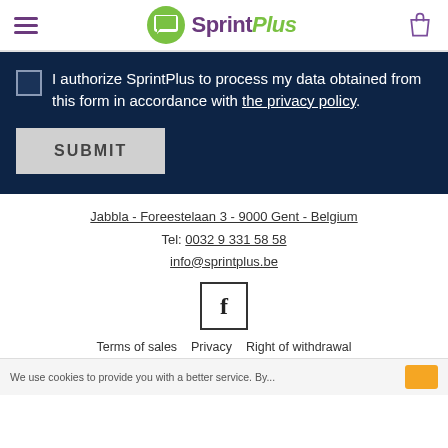SprintPlus
I authorize SprintPlus to process my data obtained from this form in accordance with the privacy policy.
SUBMIT
Jabbla - Foreestelaan 3 - 9000 Gent - Belgium
Tel: 0032 9 331 58 58
info@sprintplus.be
[Figure (logo): Facebook logo box with letter f]
Terms of sales   Privacy   Right of withdrawal
We use cookies to provide you with a better service. By...